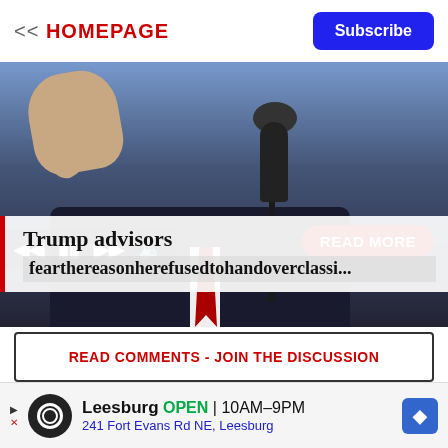<< HOMEPAGE | Subscribe
[Figure (photo): Person speaking into a microphone with fist raised, dark suit, red tie, blue background]
Trump advisors fearthereasonherefusedtohandoverclassi...
READ COMMENTS - JOIN THE DISCUSSION
[Figure (photo): Two side-by-side photos: left shows a man with dark hair, right shows an older man with white/gray hair against blue background. Red X button on right side.]
Leesburg OPEN 10AM–9PM 241 Fort Evans Rd NE, Leesburg